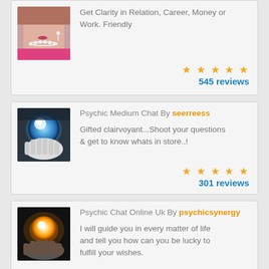Get Clarity in Relation, Career, Money or Work. Friendly
545 reviews
Psychic Medium Chat By seerreess
Gifted clairvoyant...Shoot your questions & get to know whats in store..!
301 reviews
Psychic Chat Online Uk By psychicsynergy
I will guide you in every matter of life and tell you how can you be lucky to fulfill your wishes.